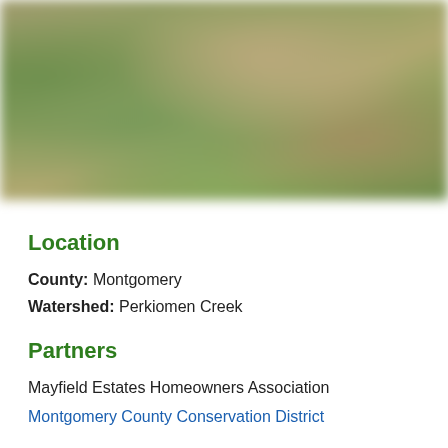[Figure (photo): Blurred outdoor photo of tall grasses and vegetation in muted green, tan, and brown tones, suggesting a natural meadow or wetland area.]
Location
County: Montgomery
Watershed: Perkiomen Creek
Partners
Mayfield Estates Homeowners Association
Montgomery County Conservation District